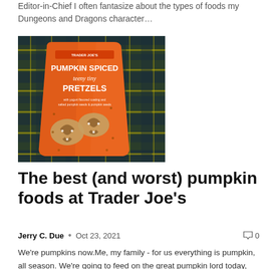Editor-in-Chief I often fantasize about the types of foods my Dungeons and Dragons character…
[Figure (photo): A bag of Trader Joe's Pumpkin Spiced Teeny Tiny Pretzels on a plaid fabric background. The orange bag shows the product name and has pretzels visible on the front.]
The best (and worst) pumpkin foods at Trader Joe's
Jerry C. Due  •  Oct 23, 2021   💬 0
We're pumpkins now.Me, my family - for us everything is pumpkin, all season. We're going to feed on the great pumpkin lord today, tomorrow. Each meal will be centered around nature's sacred orange squash. I explained this to my 5…